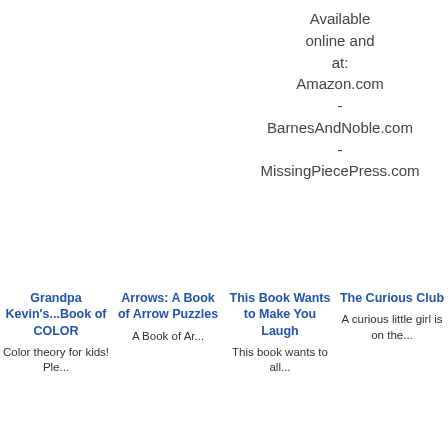Available online and at:
Amazon.com
-
BarnesAndNoble.com
-
MissingPiecePress.com
Grandpa Kevin's...Book of COLOR
Arrows: A Book of Arrow Puzzles
This Book Wants to Make You Laugh
The Curious Club
Color theory for kids! Ple...
A Book of Ar...
This book wants to all...
A curious little girl is on the...